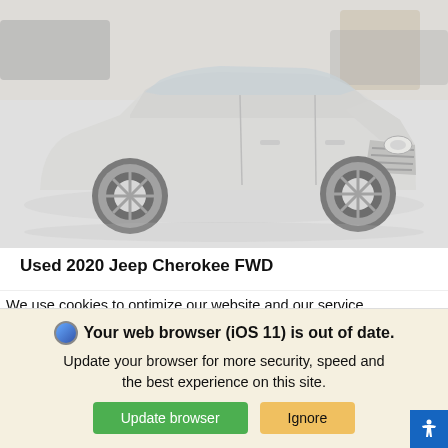[Figure (photo): Photo of a silver/white 2020 Jeep Cherokee FWD SUV in a parking lot, front 3/4 view, slightly washed out/faded appearance]
Used 2020 Jeep Cherokee FWD
We use cookies to optimize our website and our service.
Cookie Policy   Privacy Statement
Your web browser (iOS 11) is out of date. Update your browser for more security, speed and the best experience on this site.
Update browser   Ignore